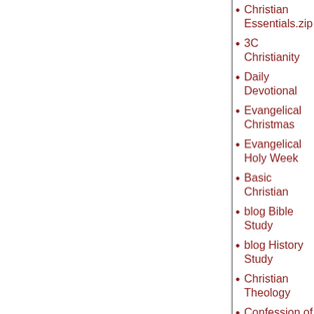Christian Essentials.zip
3C Christianity
Daily Devotional
Evangelical Christmas
Evangelical Holy Week
Basic Christian
blog Bible Study
blog History Study
Christian Theology
Confession of Faith
The Jesus